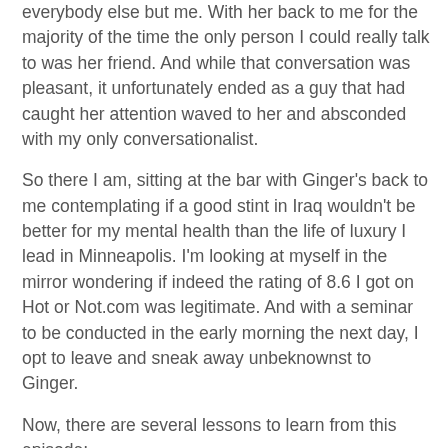everybody else but me. With her back to me for the majority of the time the only person I could really talk to was her friend. And while that conversation was pleasant, it unfortunately ended as a guy that had caught her attention waved to her and absconded with my only conversationalist.
So there I am, sitting at the bar with Ginger's back to me contemplating if a good stint in Iraq wouldn't be better for my mental health than the life of luxury I lead in Minneapolis. I'm looking at myself in the mirror wondering if indeed the rating of 8.6 I got on Hot or Not.com was legitimate. And with a seminar to be conducted in the early morning the next day, I opt to leave and sneak away unbeknownst to Ginger.
Now, there are several lessons to learn from this episode;
1. Ginger is a moron.
2. I am a moron for thinking things should go as they should as if it were 1947.
3. I should have drank a lot more that night
4. Union workers are idiots.
1. (partially visible text continues below)